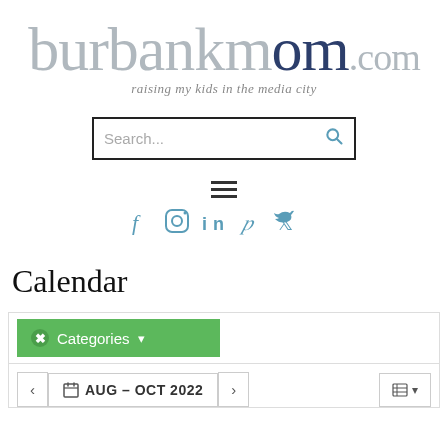[Figure (logo): burbankmom.com logo with tagline 'raising my kids in the media city']
[Figure (screenshot): Search bar with placeholder text 'Search...' and a magnifying glass icon]
[Figure (infographic): Hamburger menu icon (three horizontal lines) and social media icons for Facebook, Instagram, LinkedIn, Pinterest, and Twitter]
Calendar
[Figure (screenshot): Calendar widget with green 'Categories' dropdown button and navigation bar showing 'AUG – OCT 2022' with prev/next arrows and a list view button]